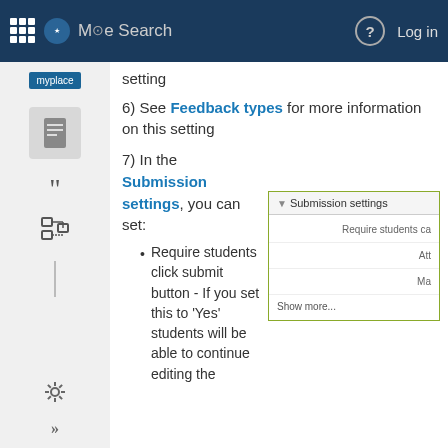MQe Search | Log in
setting
6) See Feedback types for more information on this setting
7) In the Submission settings, you can set:
[Figure (screenshot): Submission settings panel showing fields: Require students can, Att..., Ma..., and a Show more... link]
Require students click submit button - If you set this to 'Yes' students will be able to continue editing the